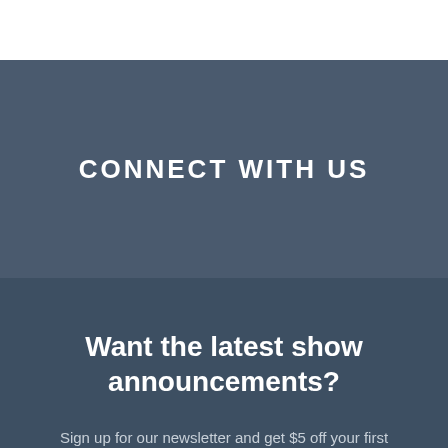CONNECT WITH US
Want the latest show announcements?
Sign up for our newsletter and get $5 off your first